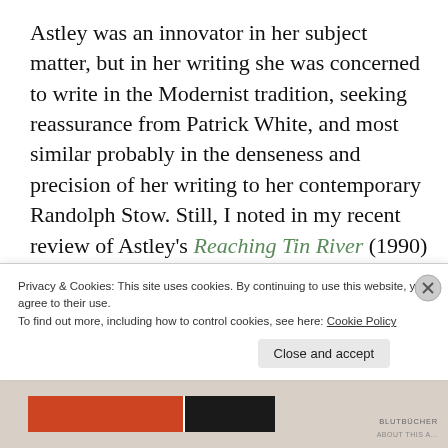Astley was an innovator in her subject matter, but in her writing she was concerned to write in the Modernist tradition, seeking reassurance from Patrick White, and most similar probably in the denseness and precision of her writing to her contemporary Randolph Stow. Still, I noted in my recent review of Astley's Reaching Tin River (1990) that Astley had clearly, over time, absorbed some of the tropes of postmodernism, playfulness say, allowing two characters 70
Privacy & Cookies: This site uses cookies. By continuing to use this website, you agree to their use.
To find out more, including how to control cookies, see here: Cookie Policy
Close and accept